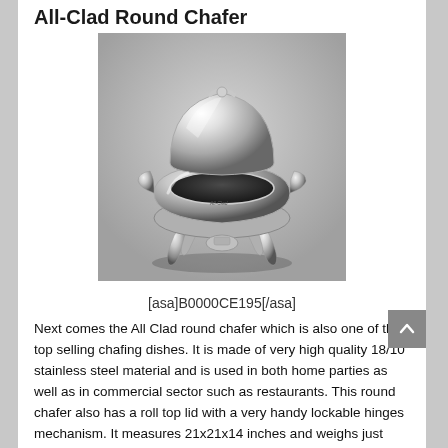All-Clad Round Chafer
[Figure (photo): A polished stainless steel All-Clad round chafing dish with a dome roll-top lid, decorative legs, and a fuel holder underneath. The product logo 'All-Clad' is visible on the body.]
[asa]B0000CE195[/asa]
Next comes the All Clad round chafer which is also one of the top selling chafing dishes. It is made of very high quality 18/10 stainless steel material and is used in both home parties as well as in commercial sector such as restaurants. This round chafer also has a roll top lid with a very handy lockable hinges mechanism. It measures 21x21x14 inches and weighs just under 36 lbs.